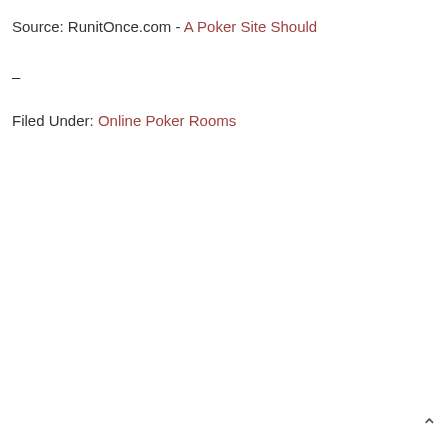Source: RunitOnce.com - A Poker Site Should
–
Filed Under: Online Poker Rooms